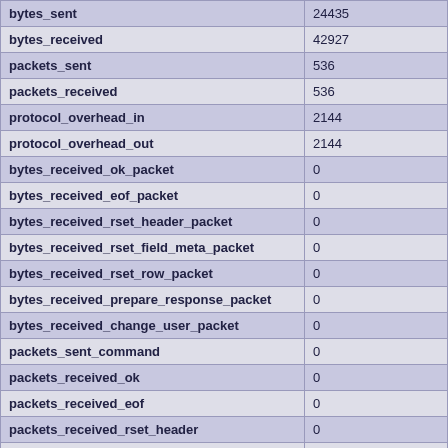| bytes_sent | 24435 |
| bytes_received | 42927 |
| packets_sent | 536 |
| packets_received | 536 |
| protocol_overhead_in | 2144 |
| protocol_overhead_out | 2144 |
| bytes_received_ok_packet | 0 |
| bytes_received_eof_packet | 0 |
| bytes_received_rset_header_packet | 0 |
| bytes_received_rset_field_meta_packet | 0 |
| bytes_received_rset_row_packet | 0 |
| bytes_received_prepare_response_packet | 0 |
| bytes_received_change_user_packet | 0 |
| packets_sent_command | 0 |
| packets_received_ok | 0 |
| packets_received_eof | 0 |
| packets_received_rset_header | 0 |
| packets_received_rset_field_meta | 0 |
| packets_received_rset_row | 0 |
| packets_received_... | 0 |